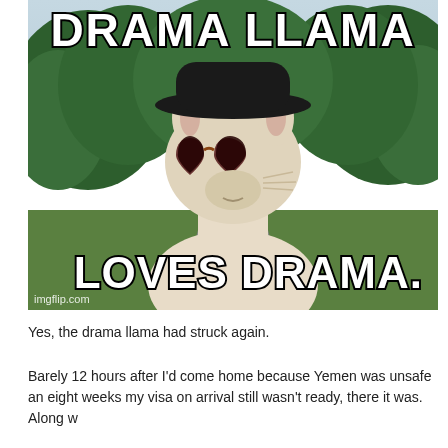[Figure (photo): Meme image of a llama wearing heart-shaped sunglasses and a black hat, outdoors with green trees in background. Top text reads 'DRAMA LLAMA', bottom text reads 'LOVES DRAMA.' Watermark: imgflip.com]
Yes, the drama llama had struck again.
Barely 12 hours after I'd come home because Yemen was unsafe an eight weeks my visa on arrival still wasn't ready, there it was. Along w